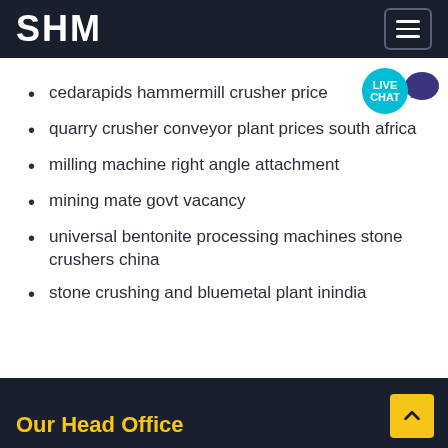SHM
cedarapids hammermill crusher price
quarry crusher conveyor plant prices south africa
milling machine right angle attachment
mining mate govt vacancy
universal bentonite processing machines stone crushers china
stone crushing and bluemetal plant inindia
Our Head Office